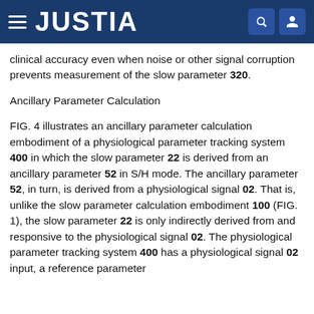JUSTIA
clinical accuracy even when noise or other signal corruption prevents measurement of the slow parameter 320.
Ancillary Parameter Calculation
FIG. 4 illustrates an ancillary parameter calculation embodiment of a physiological parameter tracking system 400 in which the slow parameter 22 is derived from an ancillary parameter 52 in S/H mode. The ancillary parameter 52, in turn, is derived from a physiological signal 02. That is, unlike the slow parameter calculation embodiment 100 (FIG. 1), the slow parameter 22 is only indirectly derived from and responsive to the physiological signal 02. The physiological parameter tracking system 400 has a physiological signal 02 input, a reference parameter